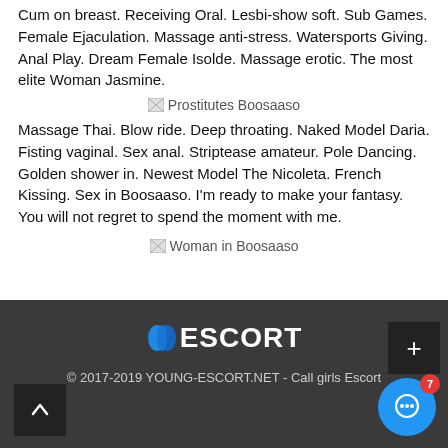Cum on breast. Receiving Oral. Lesbi-show soft. Sub Games. Female Ejaculation. Massage anti-stress. Watersports Giving. Anal Play. Dream Female Isolde. Massage erotic. The most elite Woman Jasmine.
[Figure (other): Broken image placeholder labeled 'Prostitutes Boosaaso']
Massage Thai. Blow ride. Deep throating. Naked Model Daria. Fisting vaginal. Sex anal. Striptease amateur. Pole Dancing. Golden shower in. Newest Model The Nicoleta. French Kissing. Sex in Boosaaso. I'm ready to make your fantasy. You will not regret to spend the moment with me.
[Figure (other): Broken image placeholder labeled 'Woman in Boosaaso']
© 2017-2019 YOUNG-ESCORT.NET - Call girls Escort